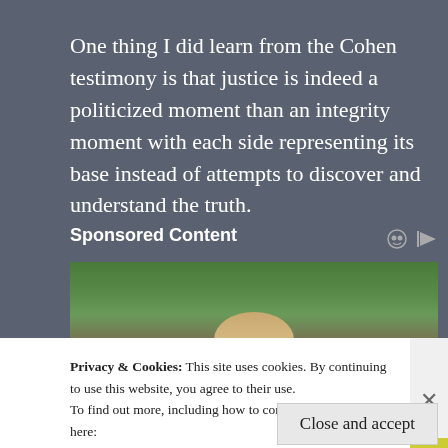One thing I did learn from the Cohen testimony is that justice is indeed a politicized moment than an integrity moment with each side representing its base instead of attempts to discover and understand the truth.
Sponsored Content
[Figure (photo): Outdoor photo showing trees and a person's head with blonde/light hair visible from below, with a small icon in the bottom right corner]
Privacy & Cookies: This site uses cookies. By continuing to use this website, you agree to their use.
To find out more, including how to control cookies, see here:
Cookie Policy
Close and accept